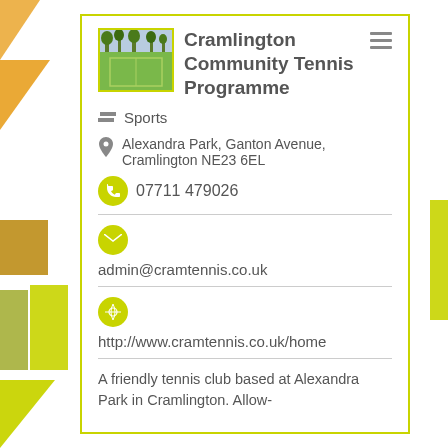Cramlington Community Tennis Programme
Sports
Alexandra Park, Ganton Avenue, Cramlington NE23 6EL
07711 479026
admin@cramtennis.co.uk
http://www.cramtennis.co.uk/home
A friendly tennis club based at Alexandra Park in Cramlington. Allow-